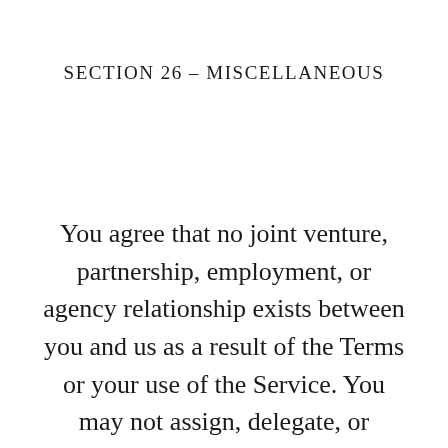SECTION 26 – MISCELLANEOUS
You agree that no joint venture, partnership, employment, or agency relationship exists between you and us as a result of the Terms or your use of the Service. You may not assign, delegate, or otherwise transfer your